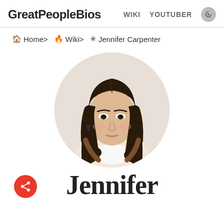GreatPeopleBios   WIKI   YOUTUBER
🏠 Home>  🔥 Wiki>  ✳ Jennifer Carpenter
[Figure (photo): Circular cropped headshot photo of Jennifer Carpenter, a woman with long dark brown hair with lighter highlights, smiling slightly, wearing a white top, against a light background.]
Jennifer